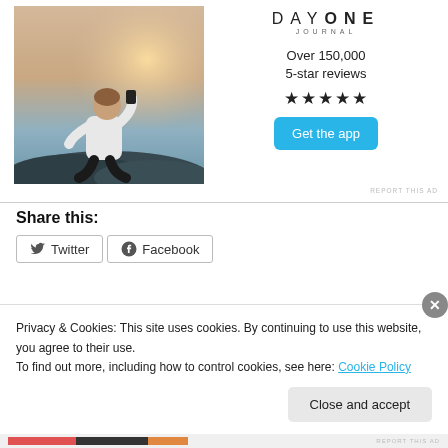[Figure (illustration): Day One Journal advertisement with photo of person sitting on rocks taking a photo at sunset, plus app logo, star rating, and Get the app button]
DAYONE
JOURNAL
Over 150,000
5-star reviews
★★★★★
REPORT THIS AD
Share this:
Twitter  Facebook
Privacy & Cookies: This site uses cookies. By continuing to use this website, you agree to their use.
To find out more, including how to control cookies, see here: Cookie Policy
Close and accept